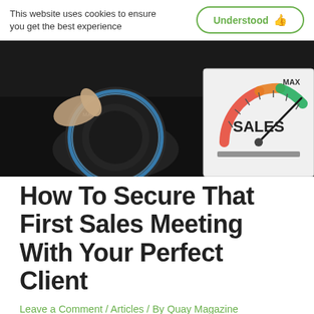This website uses cookies to ensure you get the best experience
Understood 👍
[Figure (photo): Close-up of a hand turning a dial knob to MAX, next to a sales meter gauge showing the needle pointing to the green MAX zone with the word SALES displayed prominently.]
How To Secure That First Sales Meeting With Your Perfect Client
Leave a Comment / Articles / By Quay Magazine
When trying to reach your perfect client, you first need to define
Click Here to download the latest edition of QUAY Magazine for FREE!
DOWNLOAD